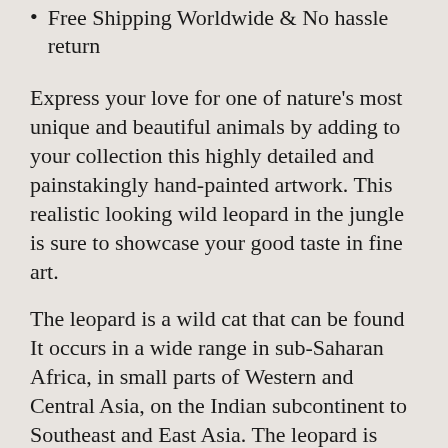Free Shipping Worldwide & No hassle return
Express your love for one of nature's most unique and beautiful animals by adding to your collection this highly detailed and painstakingly hand-painted artwork. This realistic looking wild leopard in the jungle is sure to showcase your good taste in fine art.
The leopard is a wild cat that can be found It occurs in a wide range in sub-Saharan Africa, in small parts of Western and Central Asia, on the Indian subcontinent to Southeast and East Asia. The leopard is distinguished by its well camouflaged fur, opportunistic hunting behavior, broad diet, strength, and its ability to adapt to a variety of habitats ranging from rain forest to steppe,